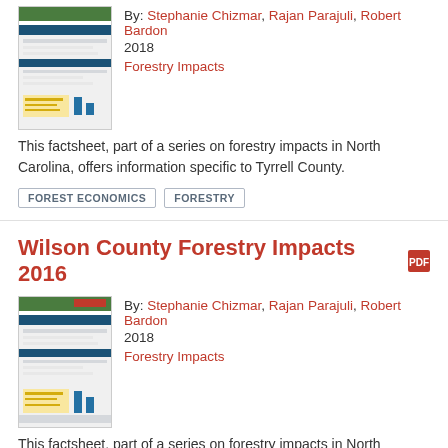[Figure (screenshot): Thumbnail of Tyrrell County Forestry Impacts factsheet document]
By: Stephanie Chizmar, Rajan Parajuli, Robert Bardon
2018
Forestry Impacts
This factsheet, part of a series on forestry impacts in North Carolina, offers information specific to Tyrrell County.
FOREST ECONOMICS
FORESTRY
Wilson County Forestry Impacts 2016
[Figure (screenshot): Thumbnail of Wilson County Forestry Impacts factsheet document]
By: Stephanie Chizmar, Rajan Parajuli, Robert Bardon
2018
Forestry Impacts
This factsheet, part of a series on forestry impacts in North Carolina, offers information specific to Wilson County.
FOREST ECONOMICS
FORESTRY